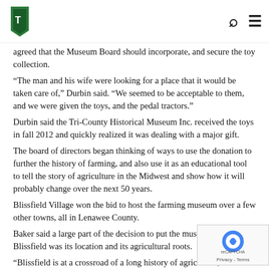[Logo] [Search icon] [Menu icon]
agreed that the Museum Board should incorporate, and secure the toy collection.
“The man and his wife were looking for a place that it would be taken care of,” Durbin said. “We seemed to be acceptable to them, and we were given the toys, and the pedal tractors.”
Durbin said the Tri-County Historical Museum Inc. received the toys in fall 2012 and quickly realized it was dealing with a major gift.
The board of directors began thinking of ways to use the donation to further the history of farming, and also use it as an educational tool to tell the story of agriculture in the Midwest and show how it will probably change over the next 50 years.
Blissfield Village won the bid to host the farming museum over a few other towns, all in Lenawee County.
Baker said a large part of the decision to put the museum in Blissfield was its location and its agricultural roots.
“Blissfield is at a crossroad of a long history of agriculture, and is